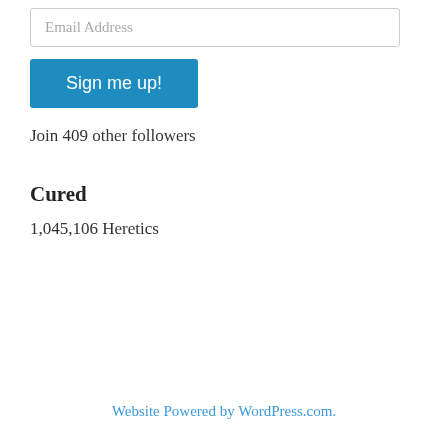Email Address
Sign me up!
Join 409 other followers
Cured
1,045,106 Heretics
Website Powered by WordPress.com.